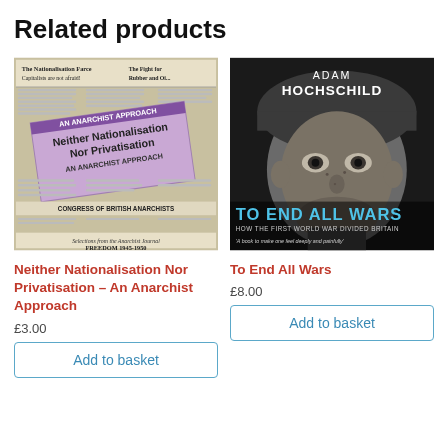Related products
[Figure (photo): Book cover: Neither Nationalisation Nor Privatisation – An Anarchist Approach. Shows a newspaper collage with a purple/lavender pamphlet overlay. Text on cover: 'The Nationalisation Farce', 'Capitalists are not afraid!', 'The Fight for Rubber and...', 'Neither Nationalisation Nor Privatisation AN ANARCHIST APPROACH', 'CONGRESS OF BRITISH ANARCHISTS', 'Selections from the Anarchist Journal FREEDOM 1945-1950']
Neither Nationalisation Nor Privatisation – An Anarchist Approach
£3.00
Add to basket
[Figure (photo): Book cover: To End All Wars by Adam Hochschild. Black and white close-up portrait of a young soldier. Title text: 'ADAM HOCHSCHILD', 'TO END ALL WARS', 'HOW THE FIRST WORLD WAR DIVIDED BRITAIN', quote: 'A book to make one feel deeply and painfully']
To End All Wars
£8.00
Add to basket